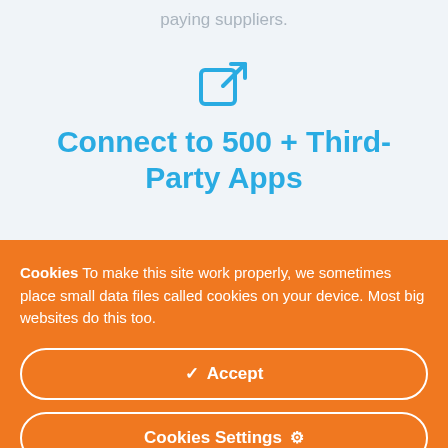paying suppliers.
[Figure (illustration): External link icon in teal/blue color]
Connect to 500 + Third-Party Apps
Cookies To make this site work properly, we sometimes place small data files called cookies on your device. Most big websites do this too.
✓ Accept
Cookies Settings ⚙